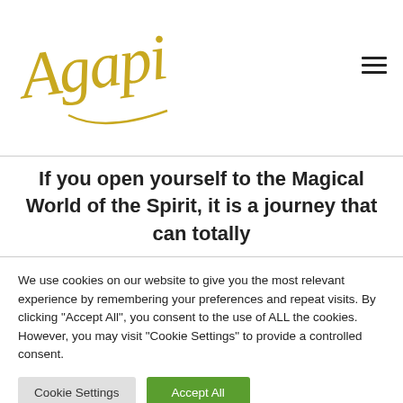[Figure (logo): Agapi cursive/script logo in gold color]
If you open yourself to the Magical World of the Spirit, it is a journey that can totally
We use cookies on our website to give you the most relevant experience by remembering your preferences and repeat visits. By clicking "Accept All", you consent to the use of ALL the cookies. However, you may visit "Cookie Settings" to provide a controlled consent.
Cookie Settings | Accept All